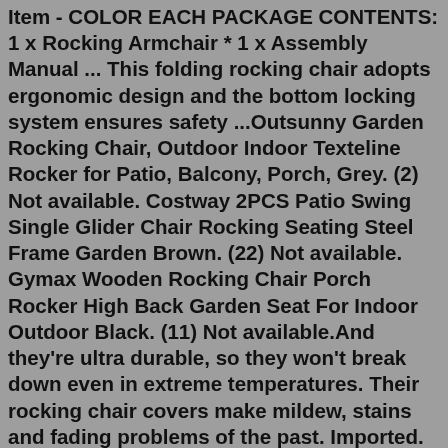Item - COLOR EACH PACKAGE CONTENTS: 1 x Rocking Armchair * 1 x Assembly Manual ... This folding rocking chair adopts ergonomic design and the bottom locking system ensures safety ...Outsunny Garden Rocking Chair, Outdoor Indoor Texteline Rocker for Patio, Balcony, Porch, Grey. (2) Not available. Costway 2PCS Patio Swing Single Glider Chair Rocking Seating Steel Frame Garden Brown. (22) Not available. Gymax Wooden Rocking Chair Porch Rocker High Back Garden Seat For Indoor Outdoor Black. (11) Not available.And they're ultra durable, so they won't break down even in extreme temperatures. Their rocking chair covers make mildew, stains and fading problems of the past. Imported. Furniture Type: Patio Chair; Durability: UV Resistant; Fastener: Tie; Overall: 44'' H x 31.5'' W x 26.75'' D; We bought 2 Rocking Chair Covers, they are just what we orded. Brumby Rocking Chairs have been an integral part of family heritages for over a century. Passed down for generations, Brumby Rockers have become synonymous with creating